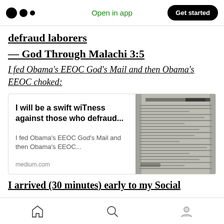Open in app | Get started
defraud laborers
— God Through Malachi 3:5
I fed Obama's EEOC God's Mail and then Obama's EEOC choked:
[Figure (screenshot): Link preview card for a Medium article titled 'I will be a swift wiTness against those who defraud...' with description 'I fed Obama's EEOC God's Mail and then Obama's EEOC...' and domain medium.com, alongside a scanned document image]
I arrived (30 minutes) early to my Social
Home | Search | Profile